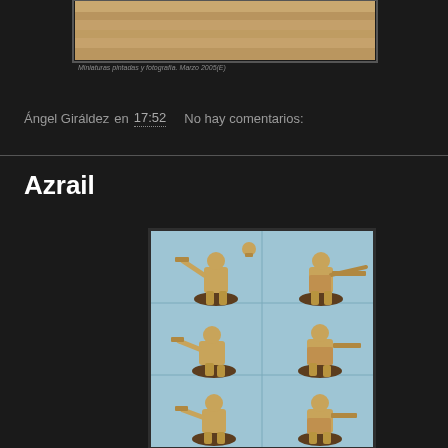[Figure (photo): Partial view of a miniature figure on a base with a small caption below it, shown at the top of the page (cropped).]
Ángel Giráldez en 17:52    No hay comentarios:
Azrail
[Figure (photo): Six views (2 columns x 3 rows) of unpainted/primed golden miniature figures (Azrail) on dark round bases, shown against a light blue background.]